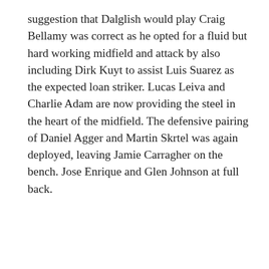suggestion that Dalglish would play Craig Bellamy was correct as he opted for a fluid but hard working midfield and attack by also including Dirk Kuyt to assist Luis Suarez as the expected loan striker. Lucas Leiva and Charlie Adam are now providing the steel in the heart of the midfield. The defensive pairing of Daniel Agger and Martin Skrtel was again deployed, leaving Jamie Carragher on the bench. Jose Enrique and Glen Johnson at full back.